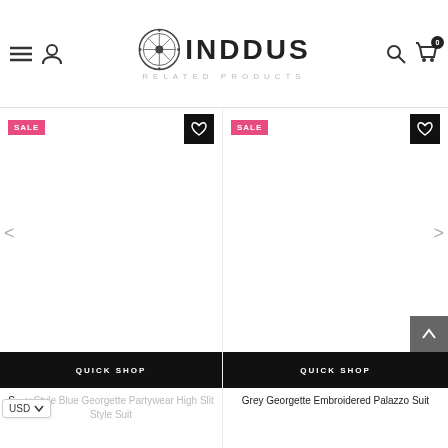INDDUS — RELATED PRODUCTS
[Figure (screenshot): INDDUS e-commerce website header with hamburger menu, user icon, INDDUS logo with circular emblem, search icon, cart icon with badge showing 0]
RELATED PRODUCTS
[Figure (screenshot): Left product card: SALE badge top-left, heart wishlist button top-right, blank product image area, QUICK SHOP bar, product title 'S... y Style Blue Georgette Partywear High Slit Style Suit'. USD currency selector bottom-left.]
[Figure (screenshot): Right product card: SALE badge top-left, heart wishlist button top-right, blank product image area, QUICK SHOP bar, scroll-to-top button, product title 'Grey Georgette Embroidered Palazzo Suit']
S... y Style Blue Georgette Partywear High Slit Style Suit
Grey Georgette Embroidered Palazzo Suit